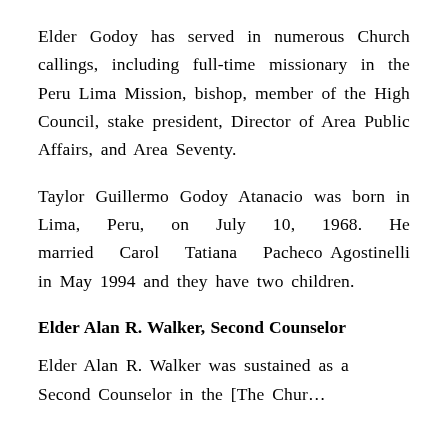Elder Godoy has served in numerous Church callings, including full-time missionary in the Peru Lima Mission, bishop, member of the High Council, stake president, Director of Area Public Affairs, and Area Seventy.
Taylor Guillermo Godoy Atanacio was born in Lima, Peru, on July 10, 1968. He married Carol Tatiana Pacheco Agostinelli in May 1994 and they have two children.
Elder Alan R. Walker, Second Counselor
Elder Alan R. Walker was sustained as a Second Counselor in the [The Church…]